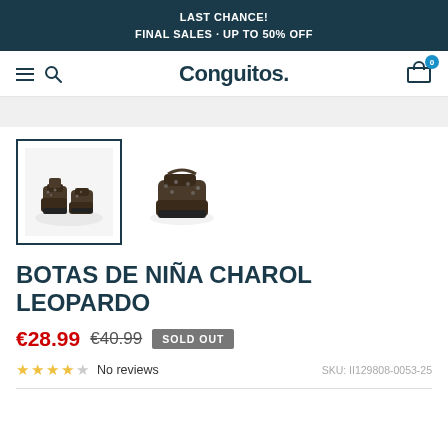LAST CHANCE!
FINAL SALES · UP TO 50% OFF
[Figure (logo): Conguitos brand logo with hamburger menu, search icon, and cart icon showing 0 items]
[Figure (photo): Two thumbnail photos of girl's leopard print patent leather boots (Botas de Niña Charol Leopardo). First thumbnail is selected with a dark border.]
BOTAS DE NIÑA CHAROL LEOPARDO
€28.99  €40.99  SOLD OUT
★★★★★ No reviews   SKU: II129808-0053-25